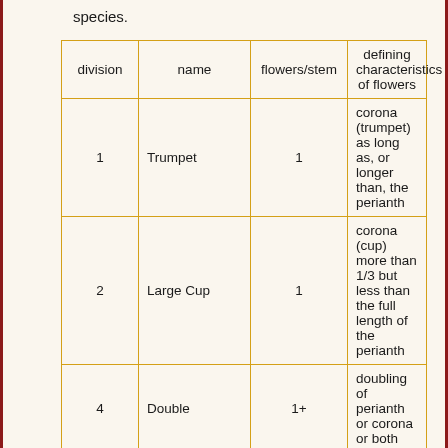species.
| division | name | flowers/stem | defining characteristics of flowers |
| --- | --- | --- | --- |
| 1 | Trumpet | 1 | corona (trumpet) as long as, or longer than, the perianth |
| 2 | Large Cup | 1 | corona (cup) more than 1/3 but less than the full length of the perianth |
| 4 | Double | 1+ | doubling of perianth or corona or both |
| 5 | Triandrus* | ~2+ | pendent flowers with reflexed (back-swept) perianth |